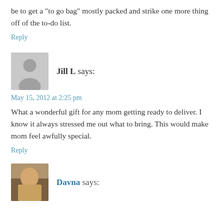be to get a "to go bag" mostly packed and strike one more thing off of the to-do list.
Reply
Jill L says:
May 15, 2012 at 2:25 pm
What a wonderful gift for any mom getting ready to deliver. I know it always stressed me out what to bring. This would make mom feel awfully special.
Reply
Davna says: